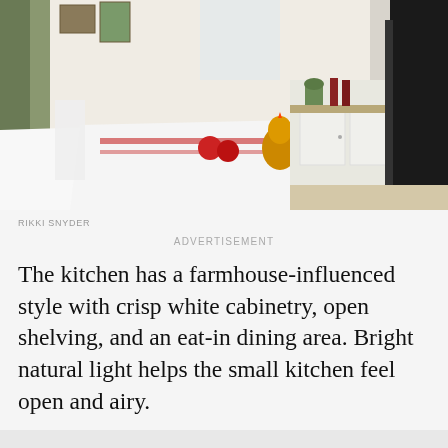[Figure (photo): Interior kitchen photo showing a farmhouse-style kitchen with a white tablecloth-covered dining table, white chairs, a decorative chicken figure, red tomatoes on the table, white cabinetry, open shelving with plants and bottles, and a black appliance on the right side.]
RIKKI SNYDER
ADVERTISEMENT
The kitchen has a farmhouse-influenced style with crisp white cabinetry, open shelving, and an eat-in dining area. Bright natural light helps the small kitchen feel open and airy.
RIKKI SNYDER